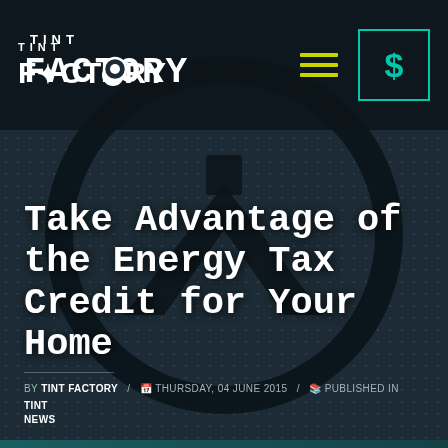[Figure (logo): Tint Factory logo in white bold text on dark background, with hamburger menu icon in yellow/green and a teal dollar sign button with border]
Take Advantage of the Energy Tax Credit for Your Home
BY TINT FACTORY / THURSDAY, 04 JUNE 2015 / PUBLISHED IN TINT NEWS